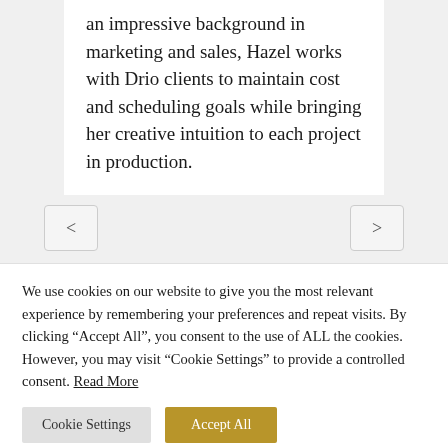an impressive background in marketing and sales, Hazel works with Drio clients to maintain cost and scheduling goals while bringing her creative intuition to each project in production.
[Figure (other): Navigation previous and next arrow buttons (< and >) for a carousel or slider]
We use cookies on our website to give you the most relevant experience by remembering your preferences and repeat visits. By clicking “Accept All”, you consent to the use of ALL the cookies. However, you may visit “Cookie Settings” to provide a controlled consent. Read More